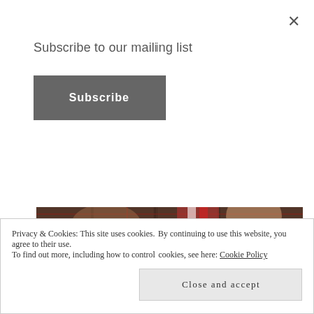×
Subscribe to our mailing list
Subscribe
[Figure (photo): Close-up photo of a person in a plaid shirt holding candy canes]
ANXIETY, BEAUTY, BLOGGING, BORDERLINE PERSONALITY DISORDER, DEPRESSION, DRAMA, ILLNESS, MENTAL HEALTH, PARENTING, PERSONALITY DISORDER, PUBLISHED, UNCATEGORIZED, WRITER
Privacy & Cookies: This site uses cookies. By continuing to use this website, you agree to their use.
To find out more, including how to control cookies, see here: Cookie Policy
Close and accept